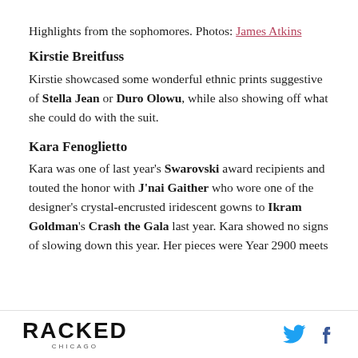Highlights from the sophomores. Photos: James Atkins
Kirstie Breitfuss
Kirstie showcased some wonderful ethnic prints suggestive of Stella Jean or Duro Olowu, while also showing off what she could do with the suit.
Kara Fenoglietto
Kara was one of last year's Swarovski award recipients and touted the honor with J'nai Gaither who wore one of the designer's crystal-encrusted iridescent gowns to Ikram Goldman's Crash the Gala last year. Kara showed no signs of slowing down this year. Her pieces were Year 2900 meets
RACKED CHICAGO